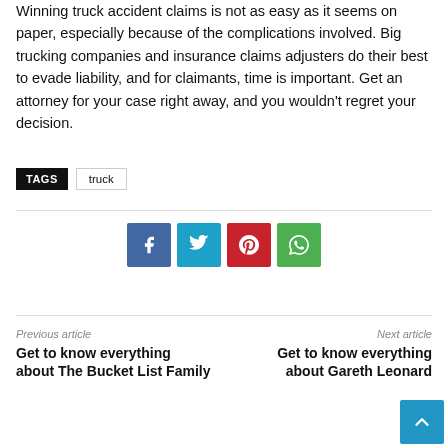Winning truck accident claims is not as easy as it seems on paper, especially because of the complications involved. Big trucking companies and insurance claims adjusters do their best to evade liability, and for claimants, time is important. Get an attorney for your case right away, and you wouldn't regret your decision.
TAGS   truck
[Figure (infographic): Social sharing buttons: Facebook (blue), Twitter (light blue), Pinterest (red), WhatsApp (green)]
Previous article
Get to know everything about The Bucket List Family
Next article
Get to know everything about Gareth Leonard